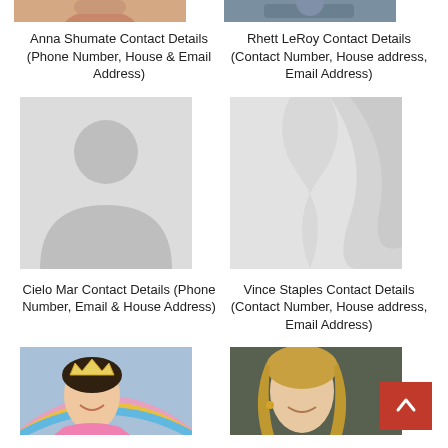[Figure (photo): Partial top photo of Anna Shumate (cropped, showing bottom portion of face/shoulders)]
[Figure (photo): Partial top photo of Rhett LeRoy (cropped, showing bottom portion)]
Anna Shumate Contact Details (Phone Number, House & Email Address)
Rhett LeRoy Contact Details (Contact Number, House address, Email Address)
[Figure (photo): Default person silhouette placeholder image for Cielo Mar]
[Figure (photo): Abstract light grey wave/curve pattern placeholder for Vince Staples]
Cielo Mar Contact Details (Phone Number, Email & House Address)
Vince Staples Contact Details (Contact Number, House address, Email Address)
[Figure (photo): Photo of a young girl wearing a tiara, smiling, at a colorful event]
[Figure (photo): Photo of a young blonde woman, smiling, outdoors]